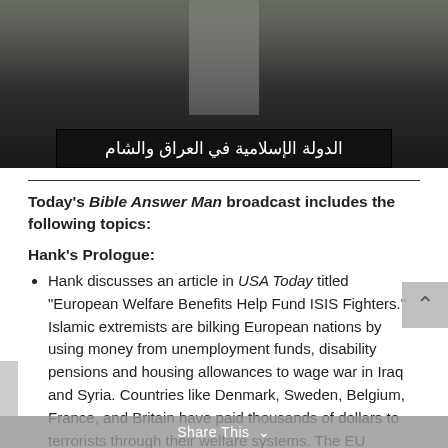[Figure (photo): Dark photograph showing a figure holding or standing near a black ISIS flag with Arabic text on a banner in the foreground.]
Today's Bible Answer Man broadcast includes the following topics:
Hank's Prologue:
Hank discusses an article in USA Today titled "European Welfare Benefits Help Fund ISIS Fighters." Islamic extremists are bilking European nations by using money from unemployment funds, disability pensions and housing allowances to wage war in Iraq and Syria. Countries like Denmark, Sweden, Belgium, France, and Britain have paid thousands of dollars to terrorists through their welfare systems. The EU countries are in trouble; they are experiencing migration without assimilation.